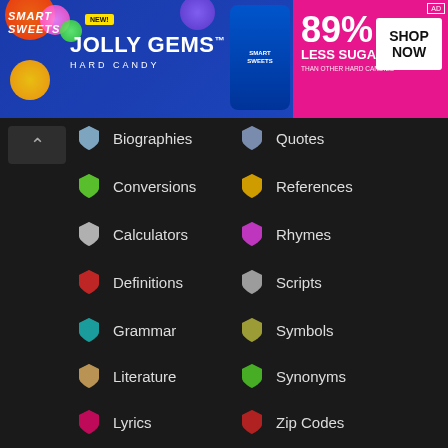[Figure (other): Smart Sweets Jolly Gems Hard Candy advertisement banner. Blue and pink background with 89% LESS SUGAR text and SHOP NOW button.]
Biographies
Conversions
Calculators
Definitions
Grammar
Literature
Lyrics
Quotes
References
Rhymes
Scripts
Symbols
Synonyms
Zip Codes
© 2001-2022 STANDS4 LLC.
All rights reserved.